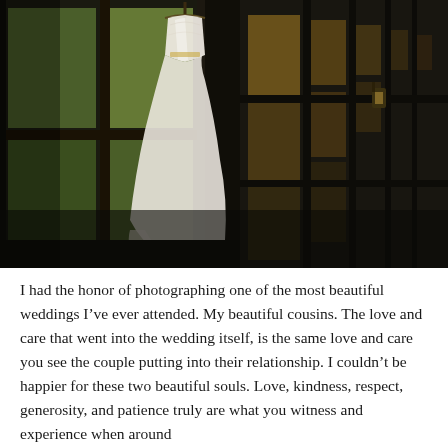[Figure (photo): A wedding dress hanging from a wooden hanger in front of large multi-pane windows, with green trees visible outside. The room is dark with wood-frame windows receding into the background. A wall lantern is visible on the right side.]
I had the honor of photographing one of the most beautiful weddings I've ever attended. My beautiful cousins. The love and care that went into the wedding itself, is the same love and care you see the couple putting into their relationship. I couldn't be happier for these two beautiful souls. Love, kindness, respect, generosity, and patience truly are what you witness and experience when around